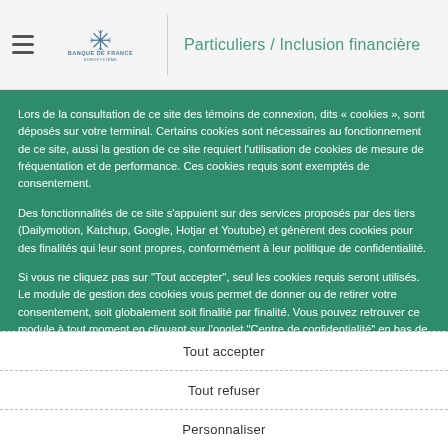Banque de France — Eurosystème | Particuliers / Inclusion financière
Lors de la consultation de ce site des témoins de connexion, dits « cookies », sont déposés sur votre terminal. Certains cookies sont nécessaires au fonctionnement de ce site, aussi la gestion de ce site requiert l'utilisation de cookies de mesure de fréquentation et de performance. Ces cookies requis sont exemptés de consentement.
Des fonctionnalités de ce site s'appuient sur des services proposés par des tiers (Dailymotion, Katchup, Google, Hotjar et Youtube) et génèrent des cookies pour des finalités qui leur sont propres, conformément à leur politique de confidentialité.
Si vous ne cliquez pas sur "Tout accepter", seul les cookies requis seront utilisés. Le module de gestion des cookies vous permet de donner ou de retirer votre consentement, soit globalement soit finalité par finalité. Vous pouvez retrouver ce module à tout moment en cliquant sur l'onglet "Centre de confidentialité" en bas de page. Vos préférences sont conservées pour une durée de 6 mois. Elles ne sont pas cédées à des tiers ni utilisées à d'autres fins.
Tout accepter
Tout refuser
Personnaliser